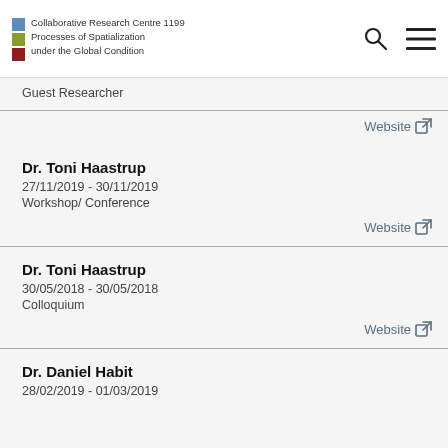Collaborative Research Centre 1199 Processes of Spatialization under the Global Condition
Guest Researcher
Website
Dr. Toni Haastrup
27/11/2019 - 30/11/2019
Workshop/ Conference
Website
Dr. Toni Haastrup
30/05/2018 - 30/05/2018
Colloquium
Website
Dr. Daniel Habit
28/02/2019 - 01/03/2019